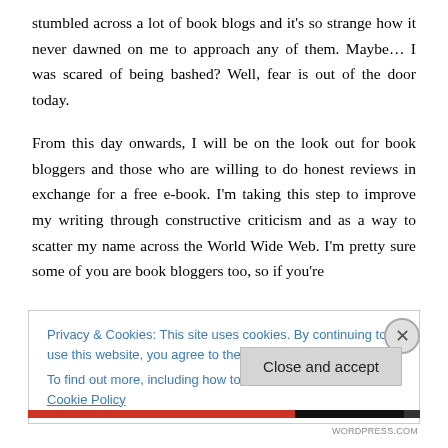stumbled across a lot of book blogs and it's so strange how it never dawned on me to approach any of them. Maybe… I was scared of being bashed? Well, fear is out of the door today.

From this day onwards, I will be on the look out for book bloggers and those who are willing to do honest reviews in exchange for a free e-book. I'm taking this step to improve my writing through constructive criticism and as a way to scatter my name across the World Wide Web. I'm pretty sure some of you are book bloggers too, so if you're
Privacy & Cookies: This site uses cookies. By continuing to use this website, you agree to their use.
To find out more, including how to control cookies, see here: Cookie Policy
Close and accept